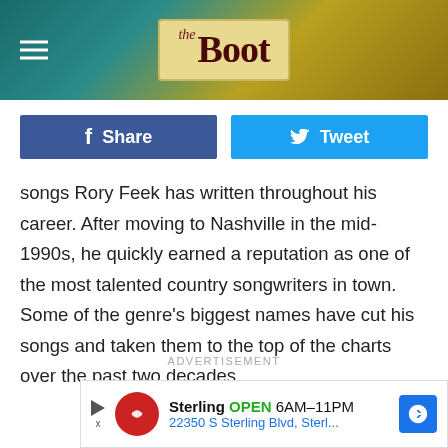[Figure (logo): The Boot website header logo with hamburger menu icon on dark teal/gold background. Logo shows 'the Boot' in stylized serif font on a parchment-colored box.]
[Figure (infographic): Facebook Share button (dark blue) and Twitter Tweet button (light blue) social sharing buttons side by side.]
songs Rory Feek has written throughout his career. After moving to Nashville in the mid-1990s, he quickly earned a reputation as one of the most talented country songwriters in town. Some of the genre's biggest names have cut his songs and taken them to the top of the charts over the past two decades.
ADVERTISEMENT
[Figure (other): Advertisement banner for Sterling showing logo, OPEN 6AM-11PM, address 22350 S Sterling Blvd, Sterl... with navigation arrow icon.]